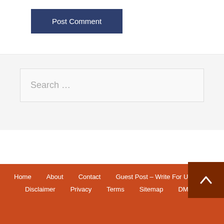Post Comment
Search …
Home   About   Contact   Guest Post – Write For Us   Disclaimer   Privacy   Terms   Sitemap   DMCA